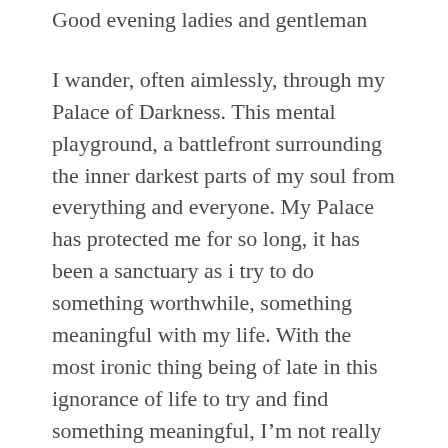Good evening ladies and gentleman
I wander, often aimlessly, through my Palace of Darkness. This mental playground, a battlefront surrounding the inner darkest parts of my soul from everything and everyone. My Palace has protected me for so long, it has been a sanctuary as i try to do something worthwhile, something meaningful with my life. With the most ironic thing being of late in this ignorance of life to try and find something meaningful, I'm not really sure what the word “meaningful” means anymore.
Its as if, and i know this is a horrible cliche- I'm falling, always falling. I work so hard to be open to life, to love and all of the advantages and pitfalls that have become all to familiar, to let myself get to the point of feeling what passes for happy, to feel